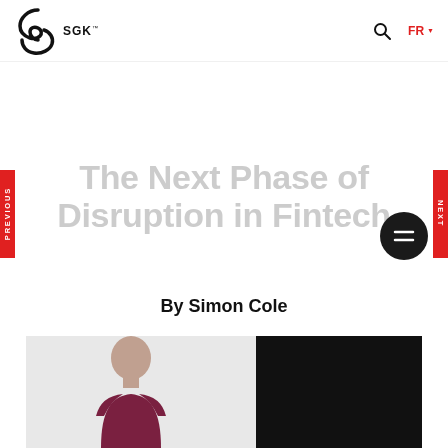SGK — navigation header with logo, search icon, FR language selector
The Next Phase of Disruption in Fintech
By Simon Cole
[Figure (photo): Portrait photo of Simon Cole, a bald man in a dark red/maroon polo shirt, against a split grey and black background]